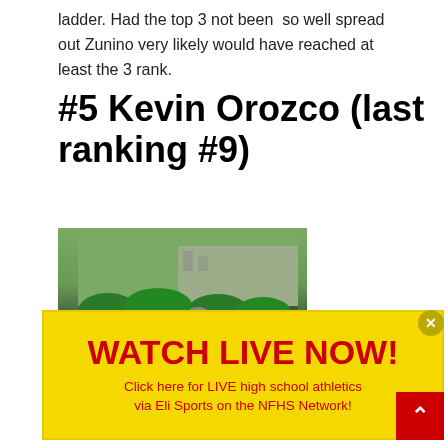ladder. Had the top 3 not been so well spread out Zunino very likely would have reached at least the 3 rank.
#5 Kevin Orozco (last ranking #9)
[Figure (photo): Jockey in teal uniform riding a dark horse at a racetrack with green hedges in the background.]
[Figure (infographic): Yellow advertisement banner reading 'WATCH LIVE NOW!' in large red bold text, with subtext 'Click here for LIVE high school athletics via Eli Sports on the NFHS Network!' in red. Has a close button and a red scroll-to-top button.]